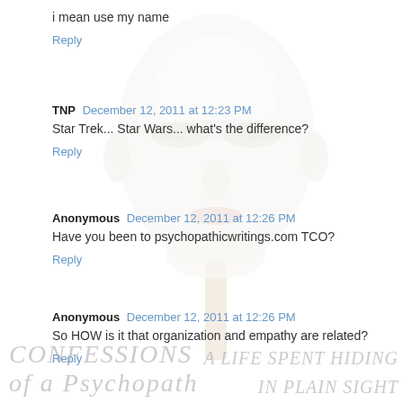i mean use my name
Reply
TNP  December 12, 2011 at 12:23 PM
Star Trek... Star Wars... what's the difference?
Reply
Anonymous  December 12, 2011 at 12:26 PM
Have you been to psychopathicwritings.com TCO?
Reply
Anonymous  December 12, 2011 at 12:26 PM
So HOW is it that organization and empathy are related?
Reply
[Figure (illustration): A white mannequin-like face mask on a stick, centered on the page as a background image overlaying the comment thread.]
CONFESSIONS   A LIFE SPENT HIDING
of a Psychopath   IN PLAIN SIGHT